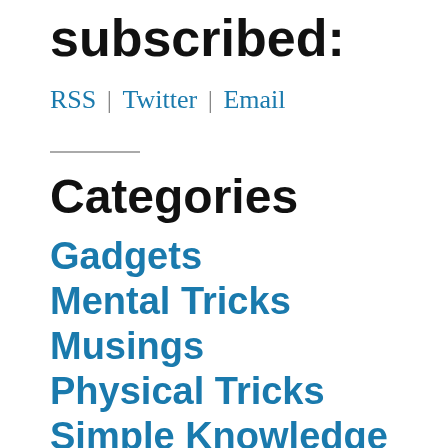subscribed:
RSS | Twitter | Email
Categories
Gadgets
Mental Tricks
Musings
Physical Tricks
Simple Knowledge